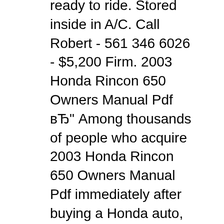ready to ride. Stored inside in A/C. Call Robert - 561 346 6026 - $5,200 Firm. 2003 Honda Rincon 650 Owners Manual Pdf вЂ" Among thousands of people who acquire 2003 Honda Rincon 650 Owners Manual Pdf immediately after buying a Honda auto, only few of them would like to spend hrs digging info in the book. This is pretty common inside the society since manual book is considered as complementary package deal, nothing at all much more.
15/04/2006В В· I found a used 2003-2004 Rincon service manual at my dealer and I have been using it for my 2005 Rincon, I haven't found one difference yet. I'm sure there a вЂ¦